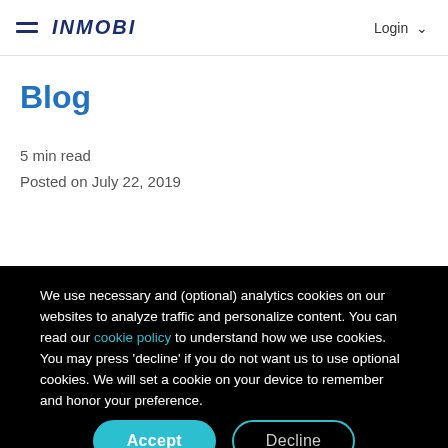InMobi | Login
Blog
5 min read
Posted on July 22, 2019
We use necessary and (optional) analytics cookies on our websites to analyze traffic and personalize content. You can read our cookie policy to understand how we use cookies. You may press 'decline' if you do not want us to use optional cookies. We will set a cookie on your device to remember and honor your preference.